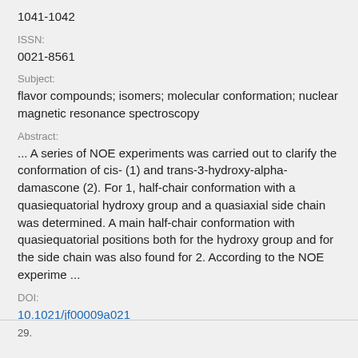1041-1042
ISSN:
0021-8561
Subject:
flavor compounds; isomers; molecular conformation; nuclear magnetic resonance spectroscopy
Abstract:
... A series of NOE experiments was carried out to clarify the conformation of cis- (1) and trans-3-hydroxy-alpha-damascone (2). For 1, half-chair conformation with a quasiequatorial hydroxy group and a quasiaxial side chain was determined. A main half-chair conformation with quasiequatorial positions both for the hydroxy group and for the side chain was also found for 2. According to the NOE experime ...
DOI:
10.1021/jf00009a021
29.